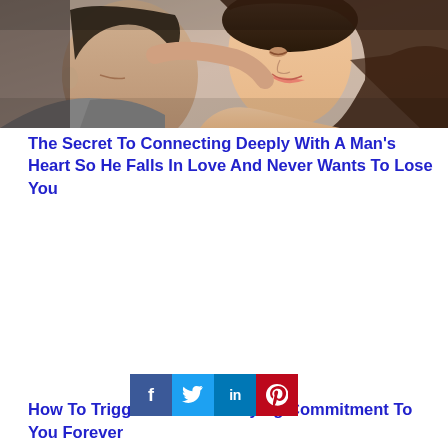[Figure (photo): A couple embracing closely and smiling; a man kissing a woman's cheek/temple, woman with long brown hair smiling warmly. Photo in muted warm tones.]
The Secret To Connecting Deeply With A Man's Heart So He Falls In Love And Never Wants To Lose You
How To Trigger A Man's Undying Commitment To You Forever